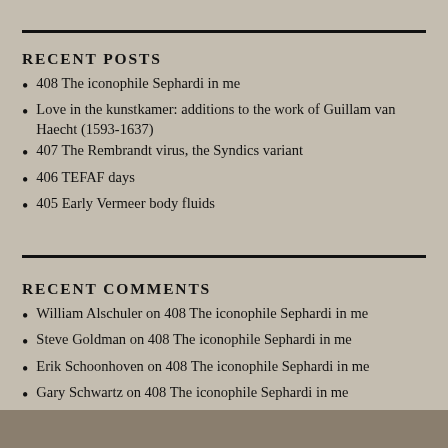RECENT POSTS
408 The iconophile Sephardi in me
Love in the kunstkamer: additions to the work of Guillam van Haecht (1593-1637)
407 The Rembrandt virus, the Syndics variant
406 TEFAF days
405 Early Vermeer body fluids
RECENT COMMENTS
William Alschuler on 408 The iconophile Sephardi in me
Steve Goldman on 408 The iconophile Sephardi in me
Erik Schoonhoven on 408 The iconophile Sephardi in me
Gary Schwartz on 408 The iconophile Sephardi in me
Erik Schoonhoven on 408 The iconophile Sephardi in me